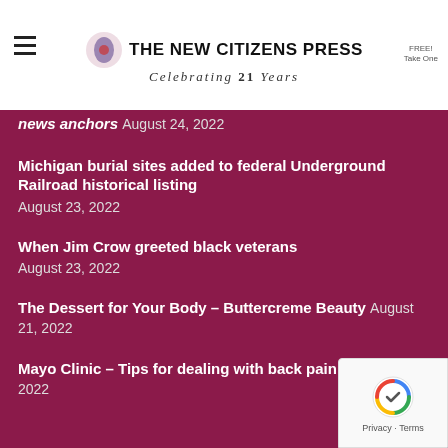THE NEW CITIZENS PRESS — Celebrating 21 Years
news anchors August 24, 2022
Michigan burial sites added to federal Underground Railroad historical listing August 23, 2022
When Jim Crow greeted black veterans August 23, 2022
The Dessert for Your Body – Buttercreme Beauty August 21, 2022
Mayo Clinic – Tips for dealing with back pain August 21, 2022